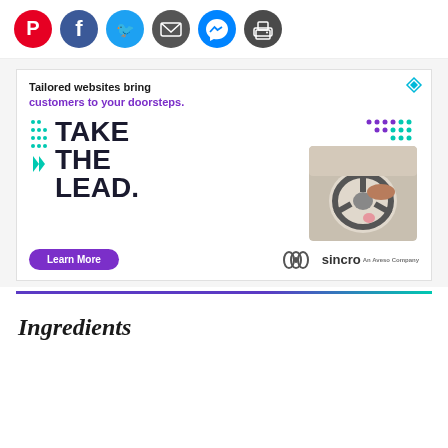[Figure (infographic): Social sharing icons: Pinterest (red), Facebook (blue), Twitter (light blue), Email (dark gray), Messenger (blue), Print (dark gray) — all circular]
[Figure (infographic): Advertisement for Sincro: 'Tailored websites bring customers to your doorsteps.' with large text 'TAKE THE LEAD.' overlaid on a driving/steering wheel photo, purple 'Learn More' button, Sincro logo, decorative teal/purple dots, small teal play-button ad tag]
Ingredients